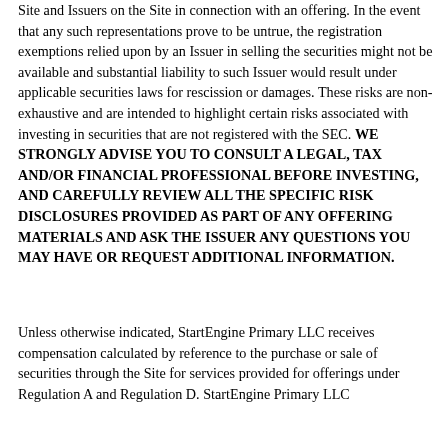Site and Issuers on the Site in connection with an offering. In the event that any such representations prove to be untrue, the registration exemptions relied upon by an Issuer in selling the securities might not be available and substantial liability to such Issuer would result under applicable securities laws for rescission or damages. These risks are non-exhaustive and are intended to highlight certain risks associated with investing in securities that are not registered with the SEC. WE STRONGLY ADVISE YOU TO CONSULT A LEGAL, TAX AND/OR FINANCIAL PROFESSIONAL BEFORE INVESTING, AND CAREFULLY REVIEW ALL THE SPECIFIC RISK DISCLOSURES PROVIDED AS PART OF ANY OFFERING MATERIALS AND ASK THE ISSUER ANY QUESTIONS YOU MAY HAVE OR REQUEST ADDITIONAL INFORMATION.
Unless otherwise indicated, StartEngine Primary LLC receives compensation calculated by reference to the purchase or sale of securities through the Site for services provided for offerings under Regulation A and Regulation D. StartEngine Primary LLC